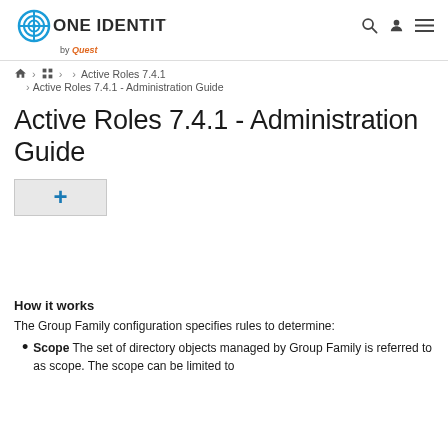ONE IDENTITY by Quest
Home > ... > Active Roles 7.4.1 > Active Roles 7.4.1 - Administration Guide
Active Roles 7.4.1 - Administration Guide
[Figure (other): Expand/collapse toggle button with a plus (+) icon on a grey background]
How it works
The Group Family configuration specifies rules to determine:
Scope  The set of directory objects managed by Group Family is referred to as scope. The scope can be limited to